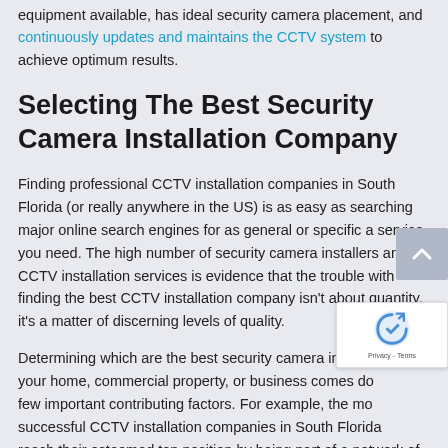equipment available, has ideal security camera placement, and continuously updates and maintains the CCTV system to achieve optimum results.
Selecting The Best Security Camera Installation Company
Finding professional CCTV installation companies in South Florida (or really anywhere in the US) is as easy as searching major online search engines for as general or specific a service you need. The high number of security camera installers and CCTV installation services is evidence that the trouble with finding the best CCTV installation company isn't about quantity, it's a matter of discerning levels of quality.
Determining which are the best security camera installers for your home, commercial property, or business comes down to a few important contributing factors. For example, the most successful CCTV installation companies in South Florida reach their esteemed top position by being part of a network of